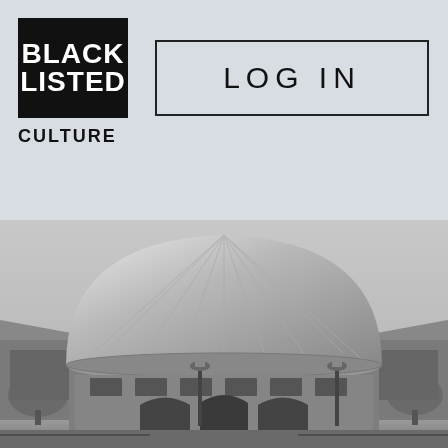[Figure (logo): Black Listed Culture logo — black square with WHITE text 'BLACK LISTED' stacked, with 'CULTURE' in bold black below the square]
LOG IN
[Figure (photo): Black and white photograph of a round brick building with a large metallic dome roof, street lamps in front, and trees on the sides]